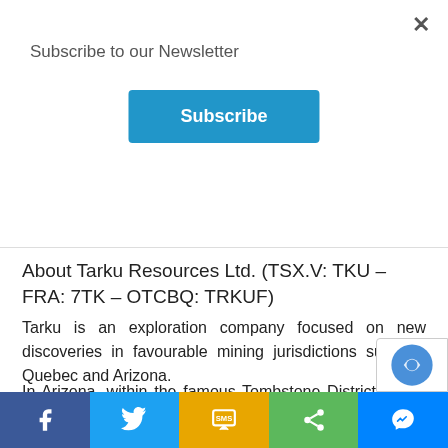Subscribe to our Newsletter
Subscribe
release.
About Tarku Resources Ltd. (TSX.V: TKU – FRA: 7TK – OTCBQ: TRKUF)
Tarku is an exploration company focused on new discoveries in favourable mining jurisdictions such as Quebec and Arizona.
In Arizona, within the famous Tombstone District, Tarku owns 100% of the 29 km² Silver Strike P